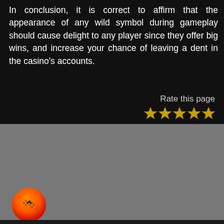In conclusion, it is correct to affirm that the appearance of any wild symbol during gameplay should cause delight to any player since they offer big wins, and increase your chance of leaving a dent in the casino's accounts.
Rate this page
[Figure (illustration): Five gold star rating icons arranged horizontally]
BETTING DEFINITIONS
COOKIES POLICY
PRIVACY POLICY
ABOUT US
AUTHORS
[Figure (logo): Orange to red gradient circular button with a checkered flag / caret up icon]